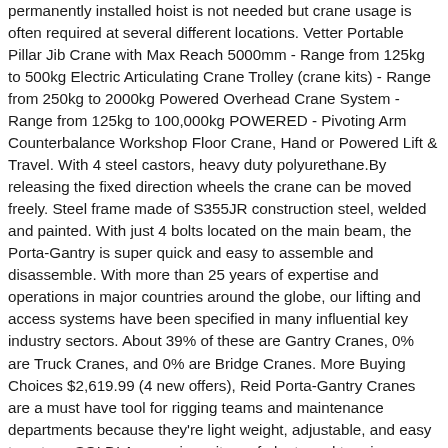permanently installed hoist is not needed but crane usage is often required at several different locations. Vetter Portable Pillar Jib Crane with Max Reach 5000mm - Range from 125kg to 500kg Electric Articulating Crane Trolley (crane kits) - Range from 250kg to 2000kg Powered Overhead Crane System - Range from 125kg to 100,000kg POWERED - Pivoting Arm Counterbalance Workshop Floor Crane, Hand or Powered Lift & Travel. With 4 steel castors, heavy duty polyurethane.By releasing the fixed direction wheels the crane can be moved freely. Steel frame made of S355JR construction steel, welded and painted. With just 4 bolts located on the main beam, the Porta-Gantry is super quick and easy to assemble and disassemble. With more than 25 years of expertise and operations in major countries around the globe, our lifting and access systems have been specified in many influential key industry sectors. About 39% of these are Gantry Cranes, 0% are Truck Cranes, and 0% are Bridge Cranes. More Buying Choices $2,619.99 (4 new offers), Reid Porta-Gantry Cranes are a must have tool for rigging teams and maintenance departments because they're light weight, adjustable, and easy to set up. SOLD! A crane is an item of plant used to raise or lower a load and move it horizontally. 500kg 1t,2t,3t,5t,Mini Indoor/outdoor Mobile Lifting Portable Gantry Crane Price , Find Complete Details about 500kg 1t,2t,3t,5t,Mini Indoor/outdoor Mobile Lifting Portable Gantry Crane Price,Mini Indoor Gantry Crane,Mini Mobile Gantry Crane,Mobile Gantry For Sale from Gantry Cranes Supplier or Manufacturer-Henan Seven Industry Co., Ltd. The LPK has been